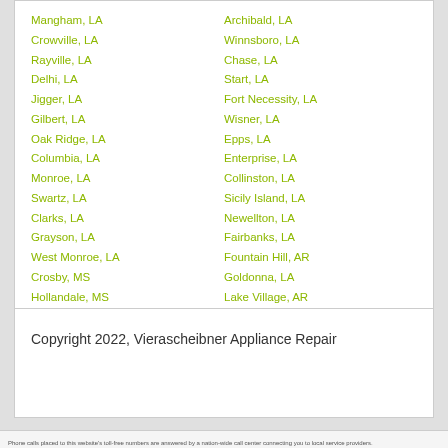Mangham, LA
Crowville, LA
Rayville, LA
Delhi, LA
Jigger, LA
Gilbert, LA
Oak Ridge, LA
Columbia, LA
Monroe, LA
Swartz, LA
Clarks, LA
Grayson, LA
West Monroe, LA
Crosby, MS
Hollandale, MS
Archibald, LA
Winnsboro, LA
Chase, LA
Start, LA
Fort Necessity, LA
Wisner, LA
Epps, LA
Enterprise, LA
Collinston, LA
Sicily Island, LA
Newellton, LA
Fairbanks, LA
Fountain Hill, AR
Goldonna, LA
Lake Village, AR
Copyright 2022, Vierascheibner Appliance Repair
Phone calls placed to this website's toll-free numbers are answered by a nation-wide call center connecting you to local service providers.